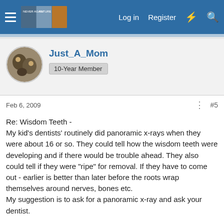Log in  Register
Just_A_Mom
10-Year Member
Feb 6, 2009   #5
Re: Wisdom Teeth -
My kid's dentists' routinely did panoramic x-rays when they were about 16 or so. They could tell how the wisdom teeth were developing and if there would be trouble ahead. They also could tell if they were "ripe" for removal. If they have to come out - earlier is better than later before the roots wrap themselves around nerves, bones etc.
My suggestion is to ask for a panoramic x-ray and ask your dentist.

Security clearance - this seems to vary by academy. West point only requires a back ground check done at the local police department. My daughter got this done in about 10 minutes